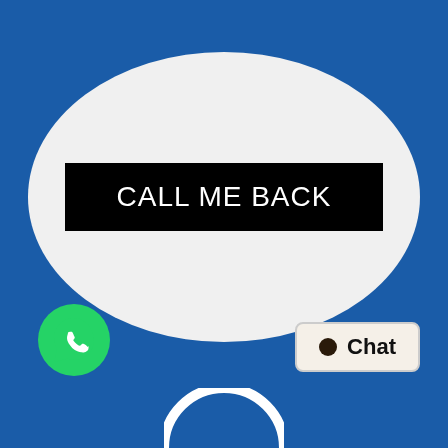[Figure (illustration): Large rounded pill/oval shaped card with light grey background centered on blue page, containing a black rectangle button with white text 'CALL ME BACK']
CALL ME BACK
[Figure (logo): WhatsApp green circle logo with white phone/chat icon, bottom left]
[Figure (illustration): Chat button with beige/cream background, dark dot icon, and bold text 'Chat', bottom right]
[Figure (illustration): White arc/semicircle at very bottom center of page]